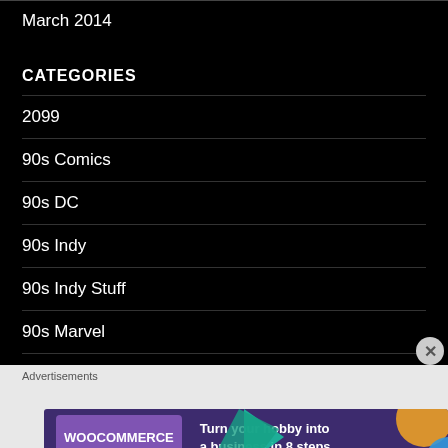March 2014
CATEGORIES
2099
90s Comics
90s DC
90s Indy
90s Indy Stuff
90s Marvel
[Figure (other): WooCommerce advertisement banner: 'Turn your hobby into a business in 8 steps']